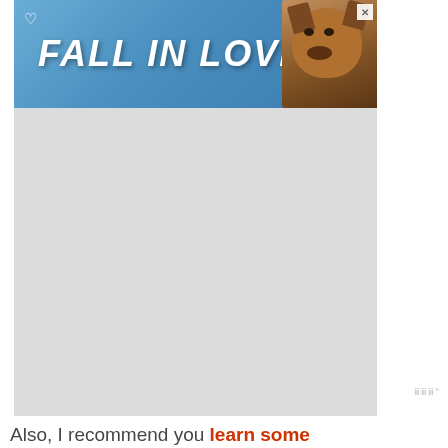[Figure (screenshot): Top banner advertisement with blue gradient background reading 'FALL IN LOVE' in white bold italic text, with a dog image on the right and a heart icon and close button]
[Figure (screenshot): Large gray placeholder advertisement block]
Also, I recommend you learn some Spanish phrases or have a translator on your hand.
Free guided tour of Albarracín:
do the typical free walking tour of this
[Figure (screenshot): WHAT'S NEXT → Best Things To Do in... promotional widget with thumbnail image]
[Figure (screenshot): Bottom banner advertisement with dark green background reading 'LET'S BE FRIENDS' in white bold italic text with a husky dog image and heart icon]